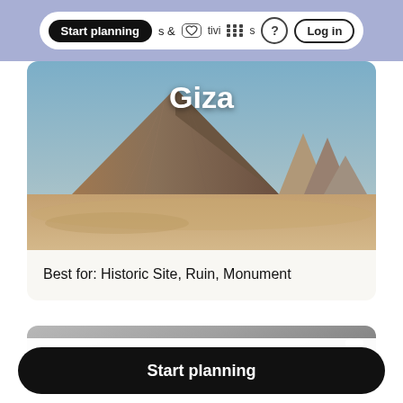Start planning  &  Activities  ? Log in
[Figure (photo): Photograph of the Pyramids of Giza with sandy foreground and blue sky, overlaid with bold white text 'Giza']
Best for: Historic Site, Ruin, Monument
[Figure (photo): Partially visible card with grey/dark image and a heart icon in the top right corner]
Start planning